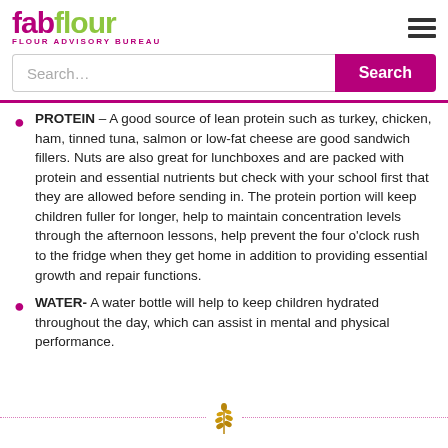fabflour FLOUR ADVISORY BUREAU
Search…
PROTEIN – A good source of lean protein such as turkey, chicken, ham, tinned tuna, salmon or low-fat cheese are good sandwich fillers. Nuts are also great for lunchboxes and are packed with protein and essential nutrients but check with your school first that they are allowed before sending in. The protein portion will keep children fuller for longer, help to maintain concentration levels through the afternoon lessons, help prevent the four o'clock rush to the fridge when they get home in addition to providing essential growth and repair functions.
WATER- A water bottle will help to keep children hydrated throughout the day, which can assist in mental and physical performance.